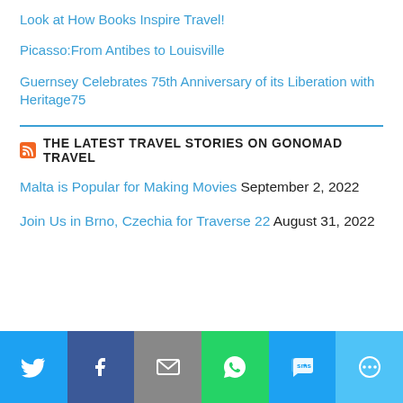Look at How Books Inspire Travel!
Picasso:From Antibes to Louisville
Guernsey Celebrates 75th Anniversary of its Liberation with Heritage75
THE LATEST TRAVEL STORIES ON GONOMAD TRAVEL
Malta is Popular for Making Movies September 2, 2022
Join Us in Brno, Czechia for Traverse 22 August 31, 2022
[Figure (infographic): Social sharing footer bar with icons for Twitter, Facebook, Email, WhatsApp, SMS, and More]